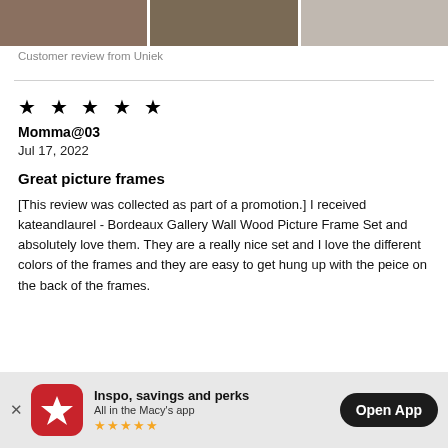[Figure (photo): Three product photos of picture frames shown in a horizontal strip at the top of the page]
Customer review from Uniek
★ ★ ★ ★ ★
Momma@03
Jul 17, 2022
Great picture frames
[This review was collected as part of a promotion.] I received kateandlaurel - Bordeaux Gallery Wall Wood Picture Frame Set and absolutely love them. They are a really nice set and I love the different colors of the frames and they are easy to get hung up with the peice on the back of the frames.
[Figure (infographic): App download banner: Macy's app promotion with red star logo, text 'Inspo, savings and perks / All in the Macy's app', 5 gold star rating, and 'Open App' dark button]